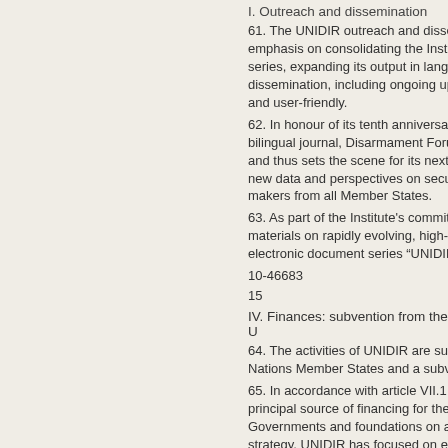I. Outreach and dissemination
61. The UNIDIR outreach and disse emphasis on consolidating the Insti series, expanding its output in langu dissemination, including ongoing up and user-friendly.
62. In honour of its tenth anniversar bilingual journal, Disarmament Foru and thus sets the scene for its next new data and perspectives on secu makers from all Member States.
63. As part of the Institute's commit materials on rapidly evolving, high-i electronic document series “UNIDIF
10-46683
15
IV. Finances: subvention from the U
64. The activities of UNIDIR are sus Nations Member States and a subv
65. In accordance with article VII.1 principal source of financing for the Governments and foundations on a strategy, UNIDIR has focused on ex example, in 2010, the Institute rece Pakistan.
66. With regard to the subvention, a